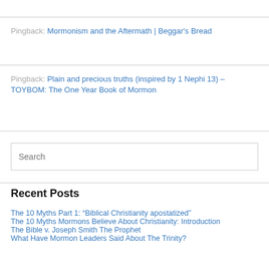Pingback: Mormonism and the Aftermath | Beggar's Bread
Pingback: Plain and precious truths (inspired by 1 Nephi 13) – TOYBOM: The One Year Book of Mormon
Search
Recent Posts
The 10 Myths Part 1: “Biblical Christianity apostatized”
The 10 Myths Mormons Believe About Christianity: Introduction
The Bible v. Joseph Smith The Prophet
What Have Mormon Leaders Said About The Trinity?